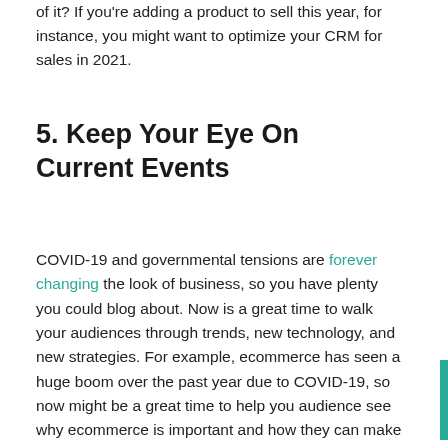of it? If you're adding a product to sell this year, for instance, you might want to optimize your CRM for sales in 2021.
5. Keep Your Eye On Current Events
COVID-19 and governmental tensions are forever changing the look of business, so you have plenty you could blog about. Now is a great time to walk your audiences through trends, new technology, and new strategies. For example, ecommerce has seen a huge boom over the past year due to COVID-19, so now might be a great time to help you audience see why ecommerce is important and how they can make the leap.